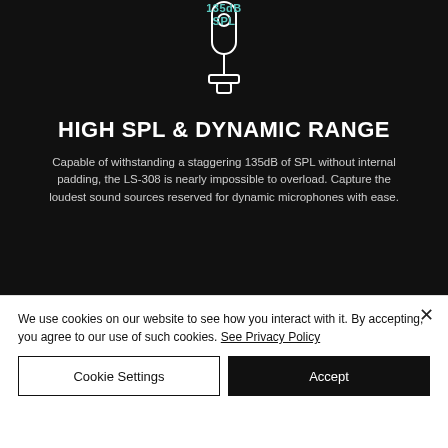[Figure (illustration): Dark background section showing a microphone illustration with '135dB SPL' label in teal color at top, and a line-art microphone graphic]
HIGH SPL & DYNAMIC RANGE
Capable of withstanding a staggering 135dB of SPL without internal padding, the LS-308 is nearly impossible to overload. Capture the loudest sound sources reserved for dynamic microphones with ease.
We use cookies on our website to see how you interact with it. By accepting, you agree to our use of such cookies. See Privacy Policy
Cookie Settings
Accept